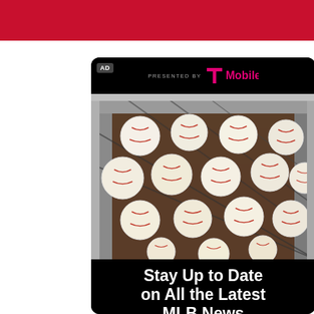[Figure (other): Red banner/bar at top of page]
[Figure (screenshot): T-Mobile sponsored MLB advertisement card with black background. Shows 'AD' label in top-left, 'PRESENTED BY T-Mobile' header with T-Mobile logo in magenta, a photograph of numerous white MLB baseballs in a metal mesh/wire basket, and text at bottom reading 'Stay Up to Date on All the Latest MLB News']